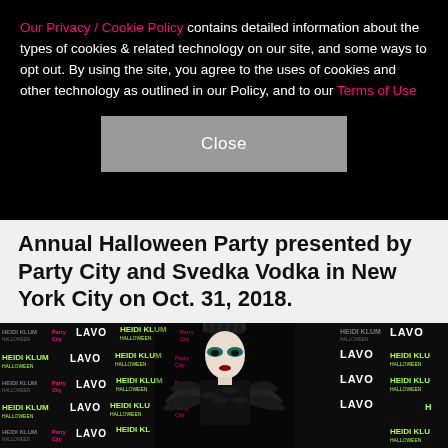Our Privacy / Cookie Policy contains detailed information about the types of cookies & related technology on our site, and some ways to opt out. By using the site, you agree to the uses of cookies and other technology as outlined in our Policy, and to our Terms of Use
Close
Annual Halloween Party presented by Party City and Svedka Vodka in New York City on Oct. 31, 2018.
[Figure (photo): Photo of a person dressed as Black Swan at Heidi Klum's Annual Halloween Party, standing in front of a step-and-repeat banner featuring LAVO, Heidi Klum Halloween, and Party City logos. The costume features dark feathers and dramatic makeup.]